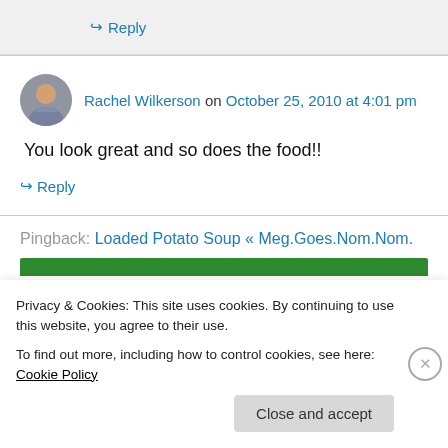↪ Reply
Rachel Wilkerson on October 25, 2010 at 4:01 pm
You look great and so does the food!!
↪ Reply
Pingback: Loaded Potato Soup « Meg.Goes.Nom.Nom.
Privacy & Cookies: This site uses cookies. By continuing to use this website, you agree to their use.
To find out more, including how to control cookies, see here: Cookie Policy
Close and accept